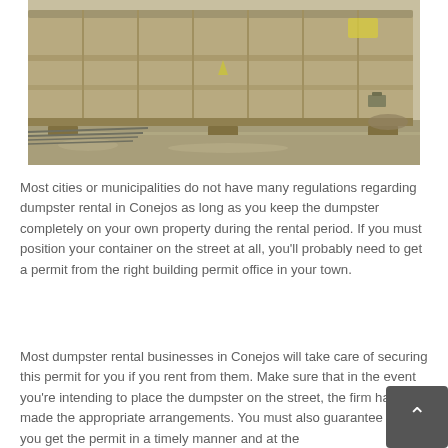[Figure (photo): A large tan/khaki colored metal dumpster/roll-off container sitting on a paved or gravel surface outdoors.]
Most cities or municipalities do not have many regulations regarding dumpster rental in Conejos as long as you keep the dumpster completely on your own property during the rental period. If you must position your container on the street at all, you'll probably need to get a permit from the right building permit office in your town.
Most dumpster rental businesses in Conejos will take care of securing this permit for you if you rent from them. Make sure that in the event you're intending to place the dumpster on the street, the firm has made the appropriate arrangements. You must also guarantee that you get the permit in a timely manner and at the